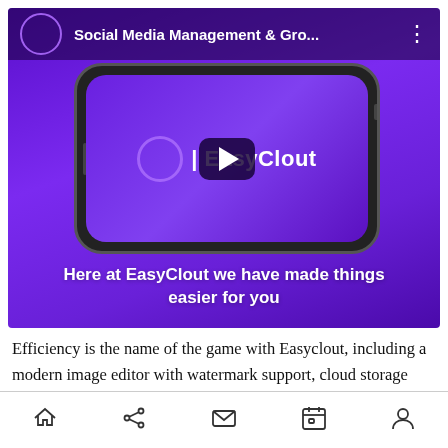[Figure (screenshot): YouTube-style video thumbnail showing EasyClout branding on a purple background. A smartphone mockup displays the EasyClout logo (circle + text). A YouTube play button is centered. Top bar shows channel avatar, title 'Social Media Management & Gro...', and three-dot menu. Bottom text reads 'Here at EasyClout we have made things easier for you'.]
Efficiency is the name of the game with Easyclout, including a modern image editor with watermark support, cloud storage integration for connecting to Dropbox, OneDrive, Google Drive, and more, as well as analytics to help a coordinated creative
[home] [share] [mail] [calendar] [account]